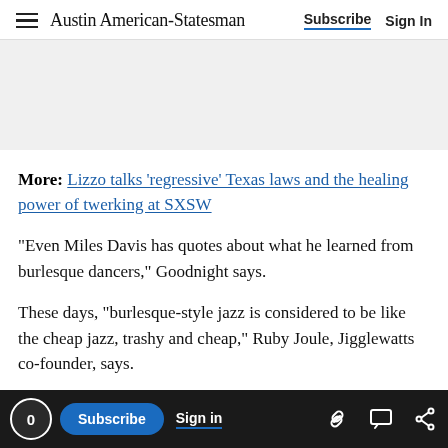Austin American-Statesman | Subscribe | Sign In
[Figure (other): Gray advertisement placeholder area]
More: Lizzo talks 'regressive' Texas laws and the healing power of twerking at SXSW
“Even Miles Davis has quotes about what he learned from burlesque dancers,” Goodnight says.
These days, “burlesque-style jazz is considered to be like the cheap jazz, trashy and cheap,” Ruby Joule, Jigglewatts co-founder, says.
0 | Subscribe | Sign in